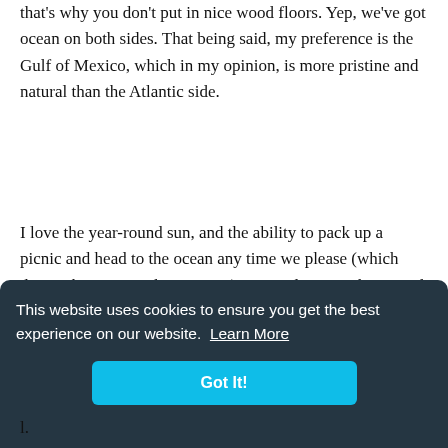that's why you don't put in nice wood floors. Yep, we've got ocean on both sides. That being said, my preference is the Gulf of Mexico, which in my opinion, is more pristine and natural than the Atlantic side.
I love the year-round sun, and the ability to pack up a picnic and head to the ocean any time we please (which doesn't happen much any more). But, at least it's there. And when our hemisphere tilts away from the sun, and the weather gradually becomes cooler, that's when Floridians shout hurray! and we pour out of doors again. All summer long we huddle inside for air-conditioned
e.
[Figure (screenshot): Cookie consent banner with dark background (#1e2d3a). Text reads: 'This website uses cookies to ensure you get the best experience on our website. Learn More' with a 'Got It!' button in cyan/teal color.]
l.